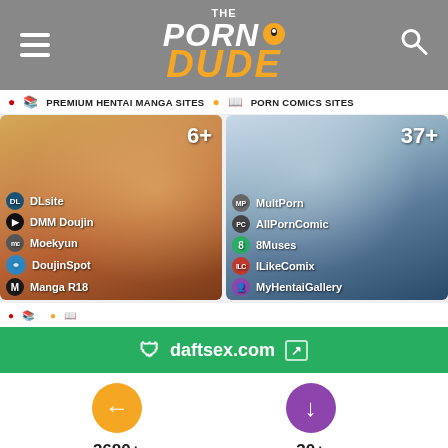The Porn Dude
PREMIUM HENTAI MANGA SITES
PORN COMICS SITES
[Figure (screenshot): Premium Hentai Manga Sites card showing 6+ sites: DLsite, DMM Doujin, Moekyun, DoujinSpot, Manga R18]
[Figure (screenshot): Porn Comics Sites card showing 37+ sites: MultPorn, AllPornComic, 8Muses, ILikeComix, MyHentaiGallery]
daftsex.com
3680+
All Porn Sites
30+
Porn For Women Sites